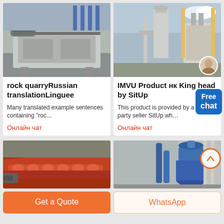[Figure (photo): Industrial rock quarry machinery, grey metal frame structure in a factory setting]
rock quarryRussian translationLinguee
Many translated example sentences containing "roc...
Онлайн чат
[Figure (photo): Industrial plant with silos, pipes, and dust collectors outdoors]
IMVU Product нк King head by SitUp
This product is provided by a third-party seller SitUp wh...
Онлайн чат
[Figure (photo): Red industrial conveyor/washer machine with spiral screws, partial view]
[Figure (photo): Blue industrial cyclone dust collector equipment in a building]
Get a Quote
WhatsApp